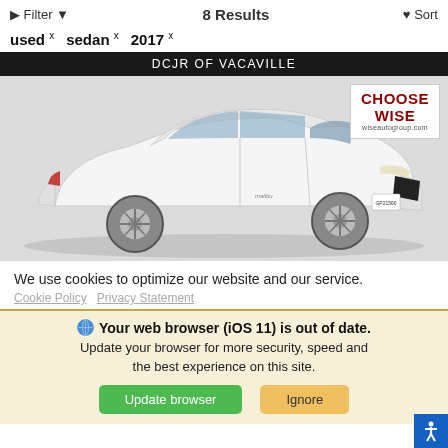Filter   8 Results   Sort
used x   sedan x   2017 x
DCJR OF VACAVILLE
[Figure (photo): White Chevrolet Malibu sedan shown from the side on a light gray background. A 'Choose Wise / wiseautogroup.com' logo is in the top-right corner of the image.]
We use cookies to optimize our website and our service.
Cookie Policy   Privacy Statement
Your web browser (iOS 11) is out of date. Update your browser for more security, speed and the best experience on this site.
Update browser   Ignore